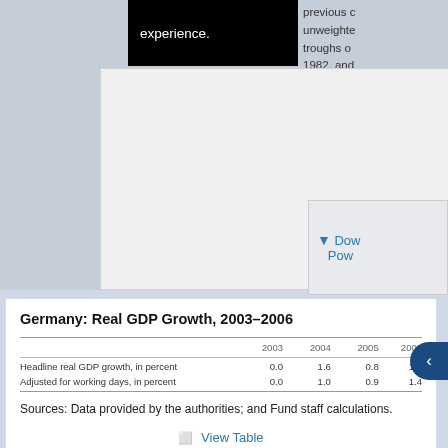experience.
previous c unweighted troughs o 1982, and for the cu assumed
Dow Pow
Germany: Real GDP Growth, 2003–2006
|  | 2003 | 2004 | 2005 | 2006 |
| --- | --- | --- | --- | --- |
| Headline real GDP growth, in percent | 0.0 | 1.6 | 0.8 | 1.2 |
| Adjusted for working days, in percent | 0.0 | 1.0 | 0.9 | 1.4 |
Sources: Data provided by the authorities; and Fund staff calculations.
View Table